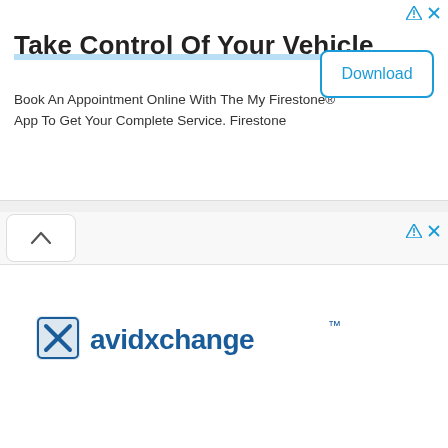[Figure (screenshot): Top advertisement banner for Firestone app with title 'Take Control Of Your Vehicle', subtitle text, and a Download button]
Take Control Of Your Vehicle
Book An Appointment Online With The My Firestone® App To Get Your Complete Service. Firestone
[Figure (logo): AvidXchange logo with stylized blue X icon and company name in dark blue text]